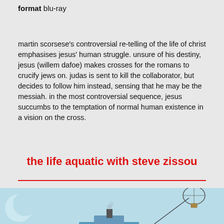format blu-ray
martin scorsese's controversial re-telling of the life of christ emphasises jesus' human struggle. unsure of his destiny, jesus (willem dafoe) makes crosses for the romans to crucify jews on. judas is sent to kill the collaborator, but decides to follow him instead, sensing that he may be the messiah. in the most controversial sequence, jesus succumbs to the temptation of normal human existence in a vision on the cross.
the life aquatic with steve zissou
[Figure (illustration): Illustration of a ship on the sea with a hot air balloon tethered to it, against a light blue sky with a crescent moon shape.]